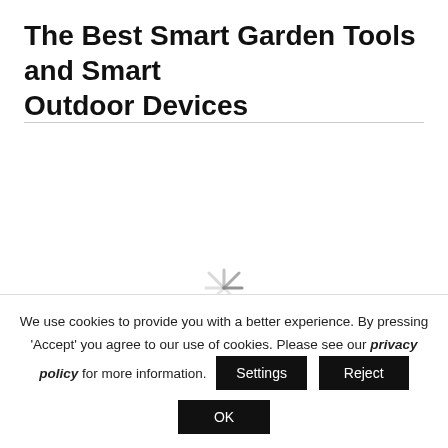The Best Smart Garden Tools and Smart Outdoor Devices
[Figure (other): Loading spinner (animated circular indicator), partially visible]
We use cookies to provide you with a better experience. By pressing 'Accept' you agree to our use of cookies. Please see our privacy policy for more information.